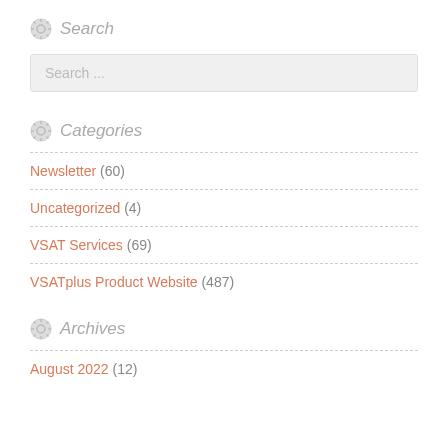Search
Search ...
Categories
Newsletter (60)
Uncategorized (4)
VSAT Services (69)
VSATplus Product Website (487)
Archives
August 2022 (12)